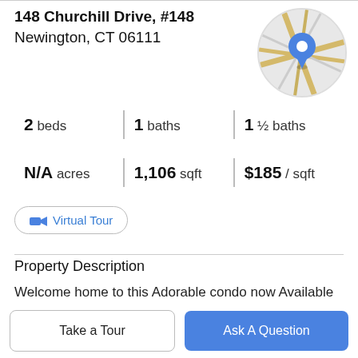148 Churchill Drive, #148
Newington, CT 06111
[Figure (map): Circular map thumbnail showing street map with a blue location pin marker]
2 beds | 1 baths | 1 ½ baths
N/A acres | 1,106 sqft | $185 / sqft
Virtual Tour
Property Description
Welcome home to this Adorable condo now Available in Newington! This home has over 1100 square feet of space, and features 2 Bedrooms, 1.5 bathrooms, and beautiful updates throughout including newer flooring...
Take a Tour
Ask A Question